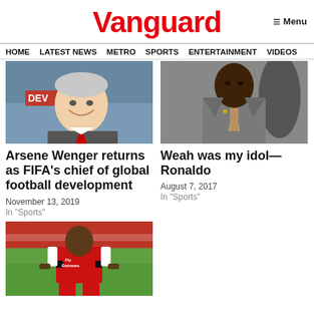Vanguard
HOME  LATEST NEWS  METRO  SPORTS  ENTERTAINMENT  VIDEOS
[Figure (photo): Smiling elderly man in a suit with a red tie, seated, with 'DEV' text visible in background]
Arsene Wenger returns as FIFA's chief of global football development
November 13, 2019
In "Sports"
[Figure (photo): Black man in a grey suit with a patterned tie, formal setting]
Weah was my idol—Ronaldo
August 7, 2017
In "Sports"
[Figure (photo): Football player in Arsenal red kit with Fly Emirates sponsor, on a pitch]